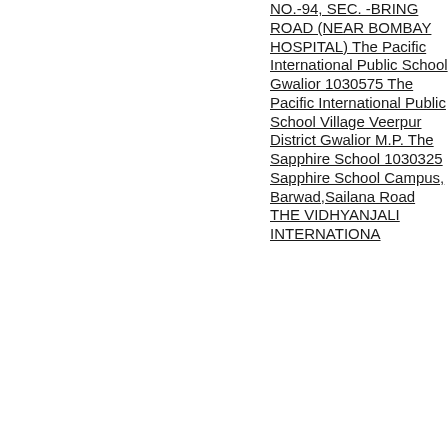NO.-94, SEC. -BRING ROAD (NEAR BOMBAY HOSPITAL) The Pacific International Public School Gwalior 1030575 The Pacific International Public School Village Veerpur District Gwalior M.P. The Sapphire School 1030325 Sapphire School Campus, Barwad,Sailana Road THE VIDHYANJALI INTERNATIONA